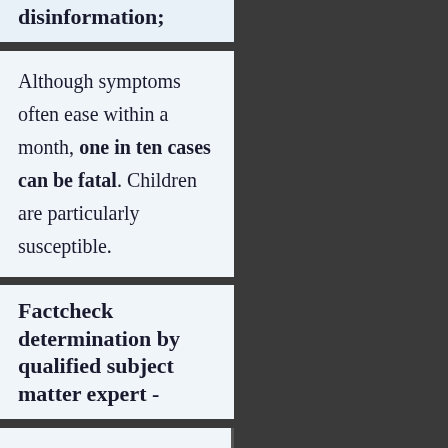disinformation;
Although symptoms often ease within a month, one in ten cases can be fatal. Children are particularly susceptible.
Factcheck determination by qualified subject matter expert -